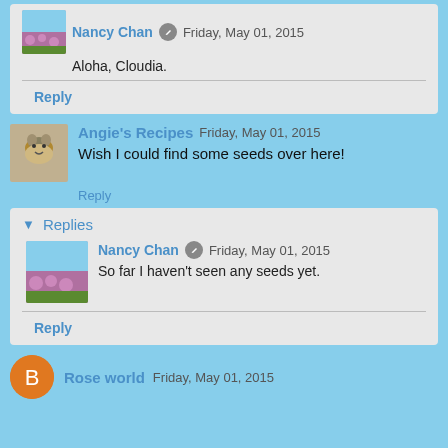Nancy Chan · Friday, May 01, 2015 — Aloha, Cloudia.
Reply
Angie's Recipes · Friday, May 01, 2015 — Wish I could find some seeds over here!
Reply
Replies
Nancy Chan · Friday, May 01, 2015 — So far I haven't seen any seeds yet.
Reply
Rose world · Friday, May 01, 2015